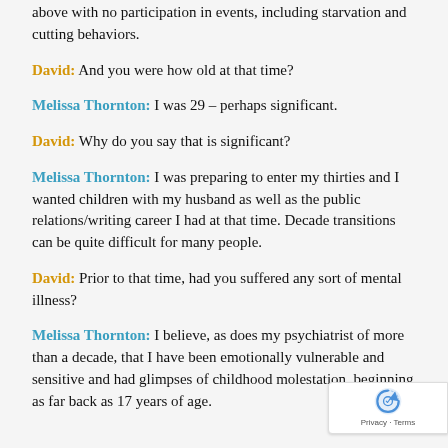above with no participation in events, including starvation and cutting behaviors.
David: And you were how old at that time?
Melissa Thornton: I was 29 – perhaps significant.
David: Why do you say that is significant?
Melissa Thornton: I was preparing to enter my thirties and I wanted children with my husband as well as the public relations/writing career I had at that time. Decade transitions can be quite difficult for many people.
David: Prior to that time, had you suffered any sort of mental illness?
Melissa Thornton: I believe, as does my psychiatrist of more than a decade, that I have been emotionally vulnerable and sensitive and had glimpses of childhood molestation, beginning as far back as 17 years of age.